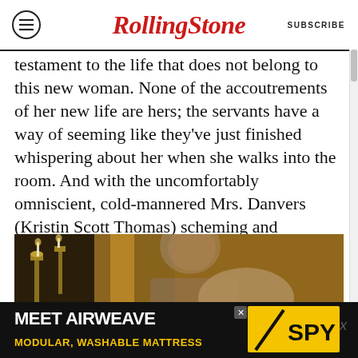Rolling Stone | SUBSCRIBE
testament to the life that does not belong to this new woman. None of the accoutrements of her new life are hers; the servants have a way of seeming like they've just finished whispering about her when she walks into the room. And with the uncomfortably omniscient, cold-mannered Mrs. Danvers (Kristin Scott Thomas) scheming and lingering around odd corners, all sense of home, sweet home immediately evaporates.
[Figure (photo): A romantic/intimate scene showing a man and a woman in what appears to be a richly decorated room with golden candlesticks visible. The man is shirtless and leaning toward the woman in a close, intimate pose.]
[Figure (infographic): Advertisement banner: MEET AIRWEAVE MODULAR, WASHABLE MATTRESS with SPY logo on yellow background.]